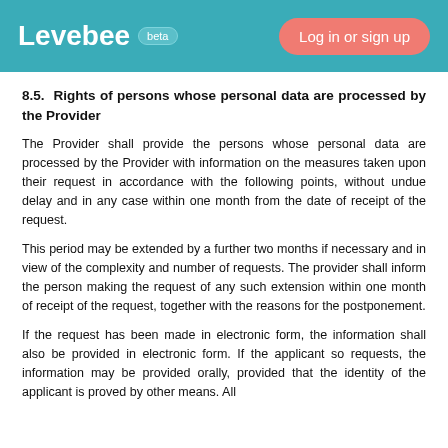Levebee beta | Log in or sign up
8.5. Rights of persons whose personal data are processed by the Provider
The Provider shall provide the persons whose personal data are processed by the Provider with information on the measures taken upon their request in accordance with the following points, without undue delay and in any case within one month from the date of receipt of the request.
This period may be extended by a further two months if necessary and in view of the complexity and number of requests. The provider shall inform the person making the request of any such extension within one month of receipt of the request, together with the reasons for the postponement.
If the request has been made in electronic form, the information shall also be provided in electronic form. If the applicant so requests, the information may be provided orally, provided that the identity of the applicant is proved by other means. All